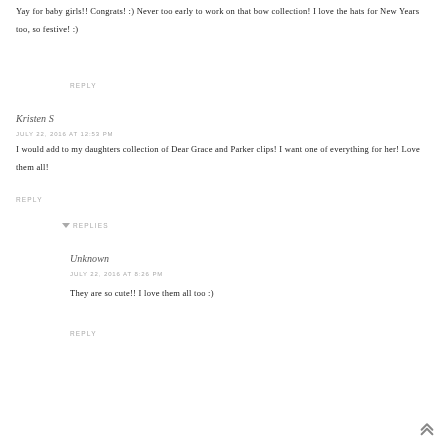Yay for baby girls!! Congrats! :) Never too early to work on that bow collection! I love the hats for New Years too, so festive! :)
REPLY
Kristen S
JULY 22, 2016 AT 12:53 PM
I would add to my daughters collection of Dear Grace and Parker clips! I want one of everything for her! Love them all!
REPLY
▼ REPLIES
Unknown
JULY 22, 2016 AT 8:26 PM
They are so cute!! I love them all too :)
REPLY